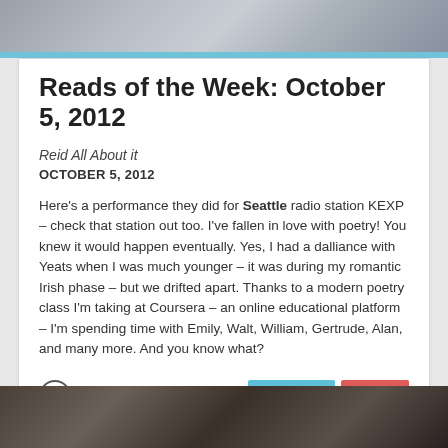[Figure (photo): Top photo showing hands on a surface, partially visible, grey tones]
Reads of the Week: October 5, 2012
Reid All About it
OCTOBER 5, 2012
Here's a performance they did for Seattle radio station KEXP – check that station out too. I've fallen in love with poetry! You knew it would happen eventually. Yes, I had a dalliance with Yeats when I was much younger – it was during my romantic Irish phase – but we drifted apart. Thanks to a modern poetry class I'm taking at Coursera – an online educational platform – I'm spending time with Emily, Walt, William, Gertrude, Alan, and many more. And you know what?
[Figure (photo): Bottom photo showing a dark electronic device, partially visible]